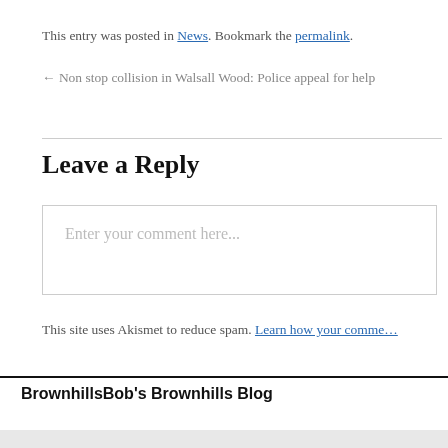This entry was posted in News. Bookmark the permalink.
← Non stop collision in Walsall Wood: Police appeal for help
Leave a Reply
Enter your comment here...
This site uses Akismet to reduce spam. Learn how your comment data is processed.
BrownhillsBob's Brownhills Blog